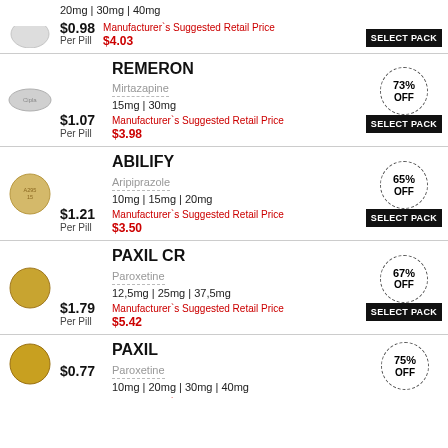20mg | 30mg | 40mg
$0.98 Per Pill
Manufacturer's Suggested Retail Price $4.03
SELECT PACK
REMERON
Mirtazapine
15mg | 30mg
73% OFF
$1.07 Per Pill
Manufacturer's Suggested Retail Price $3.98
SELECT PACK
ABILIFY
Aripiprazole
10mg | 15mg | 20mg
65% OFF
$1.21 Per Pill
Manufacturer's Suggested Retail Price $3.50
SELECT PACK
PAXIL CR
Paroxetine
12,5mg | 25mg | 37,5mg
67% OFF
$1.79 Per Pill
Manufacturer's Suggested Retail Price $5.42
SELECT PACK
PAXIL
Paroxetine
10mg | 20mg | 30mg | 40mg
75% OFF
$0.77
Manufacturer's Suggested Retail Price